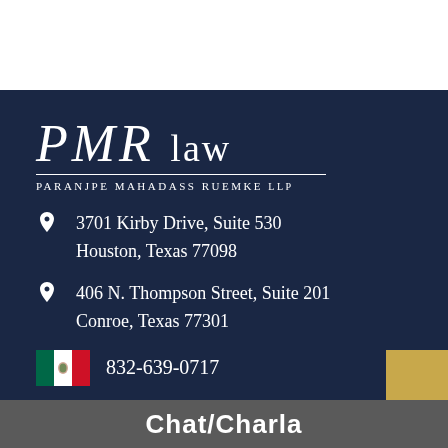[Figure (logo): PMR LAW - Paranjpe Mahadass Ruemke LLP law firm logo with white text on navy background]
3701 Kirby Drive, Suite 530
Houston, Texas 77098
406 N. Thompson Street, Suite 201
Conroe, Texas 77301
832-639-0717
Chat/Charla